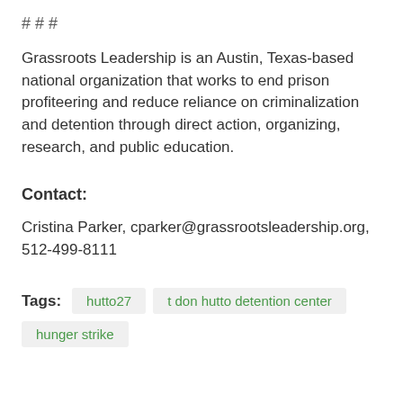# # #
Grassroots Leadership is an Austin, Texas-based national organization that works to end prison profiteering and reduce reliance on criminalization and detention through direct action, organizing, research, and public education.
Contact:
Cristina Parker, cparker@grassrootsleadership.org, 512-499-8111
Tags: hutto27   t don hutto detention center   hunger strike